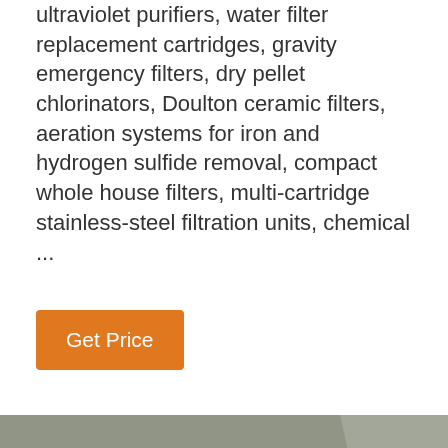ultraviolet purifiers, water filter replacement cartridges, gravity emergency filters, dry pellet chlorinators, Doulton ceramic filters, aeration systems for iron and hydrogen sulfide removal, compact whole house filters, multi-cartridge stainless-steel filtration units, chemical ...
Get Price
[Figure (photo): Close-up photo of two dark metallic water filter cartridge tops/inlet ports, with blurred background]